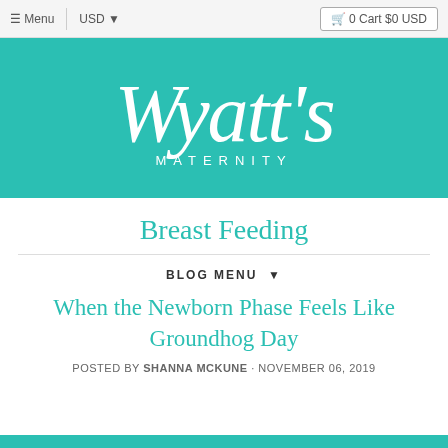≡ Menu | USD ▾ | 🛒 0 Cart $0 USD
[Figure (logo): Wyatt's Maternity logo in white script text on teal background]
Breast Feeding
BLOG MENU ▾
When the Newborn Phase Feels Like Groundhog Day
POSTED BY SHANNA MCKUNE · NOVEMBER 06, 2019